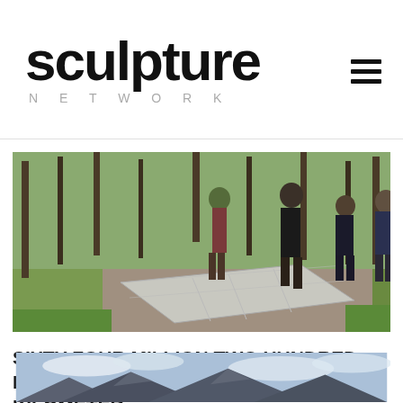sculpture NETWORK
[Figure (photo): Group of people standing outdoors on a gravel path in a woodland setting, looking down at a large flat rectangular stone or metal sculpture laid diagonally on the ground. Trees with bare branches visible in background, green grass on sides.]
SIXTY FOUR MILLION TWO HUNDRED EIGHTY FIVE THOUSAND TENTH KILOMETER
[Figure (photo): Outdoor landscape photo partially visible at bottom of page, showing mountains or hills with cloudy sky.]